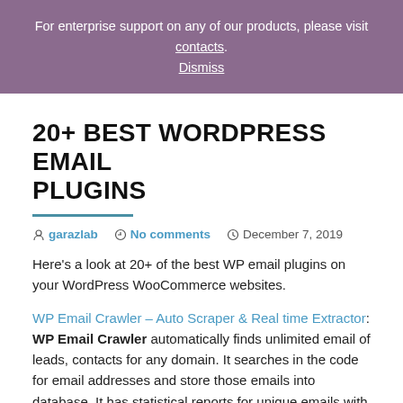For enterprise support on any of our products, please visit contacts. Dismiss
20+ BEST WORDPRESS EMAIL PLUGINS
garazlab  No comments  December 7, 2019
Here's a look at 20+ of the best WP email plugins on your WordPress WooCommerce websites.
WP Email Crawler – Auto Scraper & Real time Extractor: WP Email Crawler automatically finds unlimited email of leads, contacts for any domain. It searches in the code for email addresses and store those emails into database. It has statistical reports for unique emails with URL for each domain. You